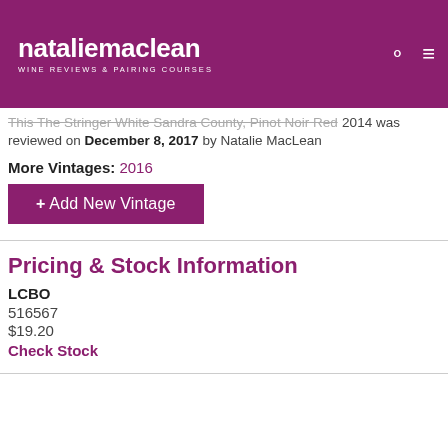natalie maclean — WINE REVIEWS & PAIRING COURSES
This The Stringer White Sandra County, Pinot Noir Red 2014 was reviewed on December 8, 2017 by Natalie MacLean
More Vintages: 2016
+ Add New Vintage
Pricing & Stock Information
LCBO
516567
$19.20
Check Stock